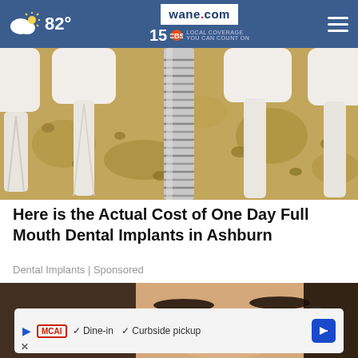wane.com 15 LOCAL COVERAGE YOU CAN COUNT ON — 82°
[Figure (illustration): Cross-section medical illustration of dental implant (metal screw) inserted into jawbone with surrounding teeth roots visible in bone tissue]
Here is the Actual Cost of One Day Full Mouth Dental Implants in Ashburn
Dental Implants | Sponsored
[Figure (photo): Close-up photo of a woman's face with dark hair, showing eyes and eyebrows]
✓ Dine-in  ✓ Curbside pickup